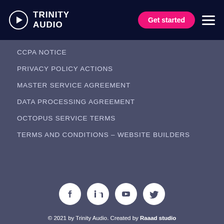Trinity Audio — Get started
CCPA NOTICE
PRIVACY POLICY ACTIONS
MASTER SERVICE AGREEMENT
DATA PROCESSING AGREEMENT
OCTOPUS SERVICE TERMS
TERMS AND CONDITIONS – WEBSITE BUILDERS
[Figure (illustration): Social media icons: Facebook, LinkedIn, YouTube, Twitter]
© 2021 by Trinity Audio. Created by Raaad studio